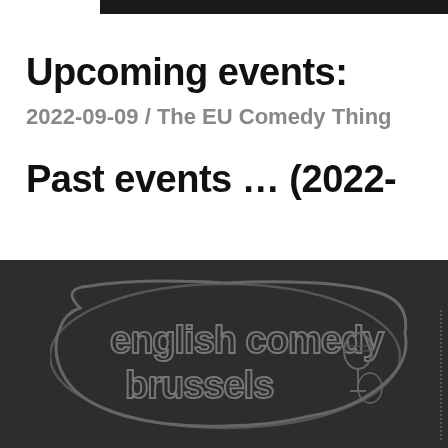Upcoming events:
2022-09-09 / The EU Comedy Thing
Past events … (2022-
[Figure (logo): English Comedy Brussels logo — stylized text 'english comedy brussels' with a microphone illustration, dark embossed style on dark background]